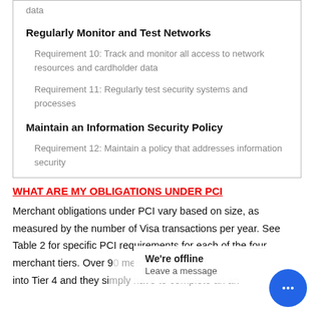data
Regularly Monitor and Test Networks
Requirement 10: Track and monitor all access to network resources and cardholder data
Requirement 11: Regularly test security systems and processes
Maintain an Information Security Policy
Requirement 12: Maintain a policy that addresses information security
WHAT ARE MY OBLIGATIONS UNDER PCI
Merchant obligations under PCI vary based on size, as measured by the number of Visa transactions per year. See Table 2 for specific PCI requirements for each of the four merchant tiers. Over 90 merchants in the U into Tier 4 and they simply have to complete an an